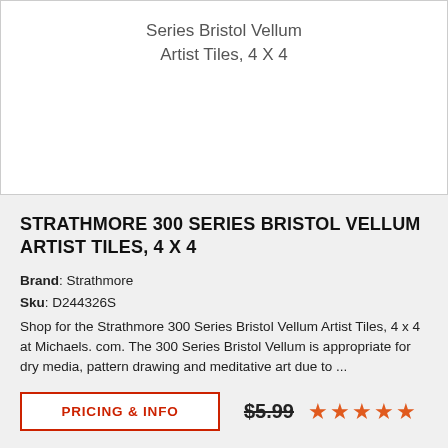Series Bristol Vellum
Artist Tiles, 4 X 4
STRATHMORE 300 SERIES BRISTOL VELLUM ARTIST TILES, 4 X 4
Brand: Strathmore
Sku: D244326S
Shop for the Strathmore 300 Series Bristol Vellum Artist Tiles, 4 x 4 at Michaels. com. The 300 Series Bristol Vellum is appropriate for dry media, pattern drawing and meditative art due to ...
PRICING & INFO
$5.99
[Figure (other): Five orange star rating icons]